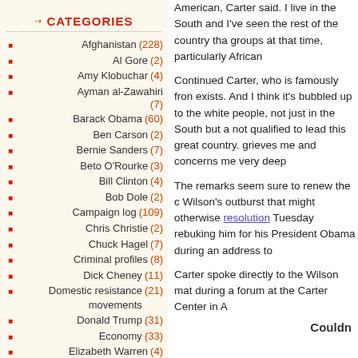CATEGORIES
Afghanistan (228)
Al Gore (2)
Amy Klobuchar (4)
Ayman al-Zawahiri (7)
Barack Obama (60)
Ben Carson (2)
Bernie Sanders (7)
Beto O'Rourke (3)
Bill Clinton (4)
Bob Dole (2)
Campaign log (109)
Chris Christie (2)
Chuck Hagel (7)
Criminal profiles (8)
Dick Cheney (11)
Domestic resistance movements (21)
Donald Trump (31)
Economy (33)
Elizabeth Warren (4)
Environment (24)
George H. W. Bush (1)
American, Carter said. I live in the South and I've seen the rest of the country that groups at that time, particularly African
Continued Carter, who is famously from exists. And I think it's bubbled up to the white people, not just in the South but a not qualified to lead this great country. grieves me and concerns me very deep
The remarks seem sure to renew the c Wilson's outburst that might otherwise resolution Tuesday rebuking him for his President Obama during an address to
Carter spoke directly to the Wilson mat during a forum at the Carter Center in A
Couldn